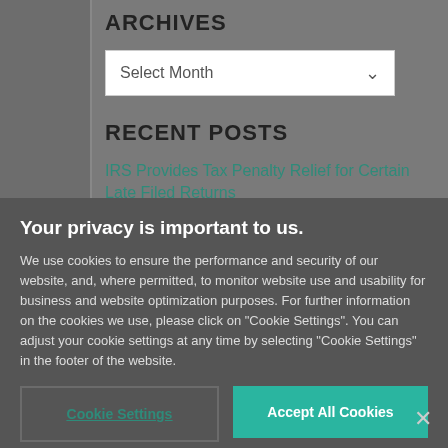ARCHIVES
Select Month
RECENT POSTS
IRS Provides Tax Penalty Relief for Certain Late Filed Returns
Your privacy is important to us.
We use cookies to ensure the performance and security of our website, and, where permitted, to monitor website use and usability for business and website optimization purposes. For further information on the cookies we use, please click on "Cookie Settings". You can adjust your cookie settings at any time by selecting "Cookie Settings" in the footer of the website.
Cookie Settings
Accept All Cookies